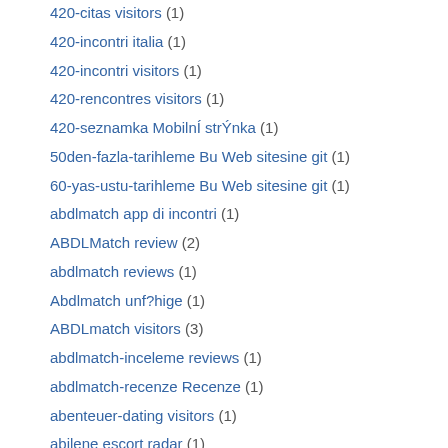420-citas visitors (1)
420-incontri italia (1)
420-incontri visitors (1)
420-rencontres visitors (1)
420-seznamka MobilnÍ strÝnka (1)
50den-fazla-tarihleme Bu Web sitesine git (1)
60-yas-ustu-tarihleme Bu Web sitesine git (1)
abdlmatch app di incontri (1)
ABDLMatch review (2)
abdlmatch reviews (1)
Abdlmatch unf?hige (1)
ABDLmatch visitors (3)
abdlmatch-inceleme reviews (1)
abdlmatch-recenze Recenze (1)
abenteuer-dating visitors (1)
abilene escort radar (1)
abilene nude escort (1)
ace payday loans (1)